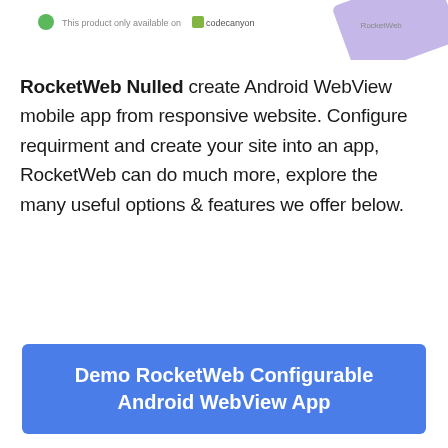[Figure (screenshot): Partial top banner showing a green dot, small text 'This product only available on CodeCanyon' with logo, and a purple/lavender angled card graphic on the right.]
RocketWeb Nulled create Android WebView mobile app from responsive website. Configure requirment and create your site into an app, RocketWeb can do much more, explore the many useful options & features we offer below.
Demo RocketWeb Configurable Android WebView App